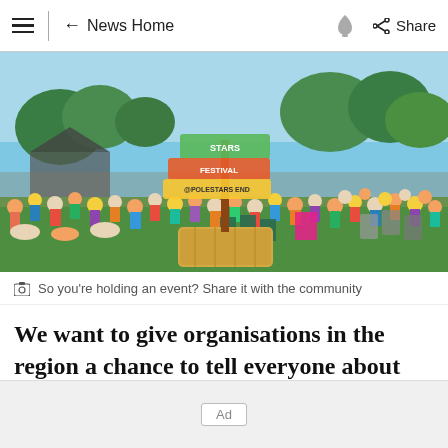≡  ← News Home  🔔  Share
[Figure (photo): Outdoor summer festival scene with large crowd of people sitting and standing on grass. A sign post with festival branding (Stars Festival / Polestars) mounted on a hay bale in the foreground. Trees and blue sky in the background.]
📷  So you're holding an event? Share it with the community
We want to give organisations in the region a chance to tell everyone about their activities.
[Figure (infographic): Ad placeholder box with label 'Ad']